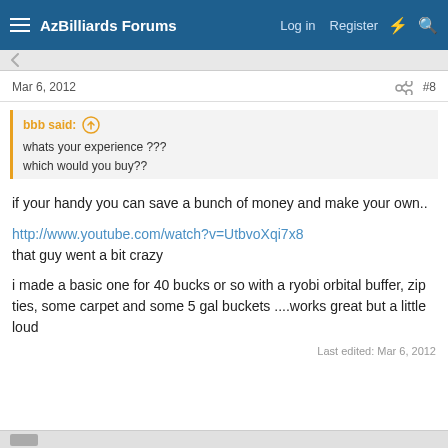AzBilliards Forums   Log in   Register
Mar 6, 2012   #8
bbb said: ↑
whats your experience ???
which would you buy??
if your handy you can save a bunch of money and make your own..
http://www.youtube.com/watch?v=UtbvoXqi7x8
that guy went a bit crazy
i made a basic one for 40 bucks or so with a ryobi orbital buffer, zip ties, some carpet and some 5 gal buckets ....works great but a little loud
Last edited: Mar 6, 2012